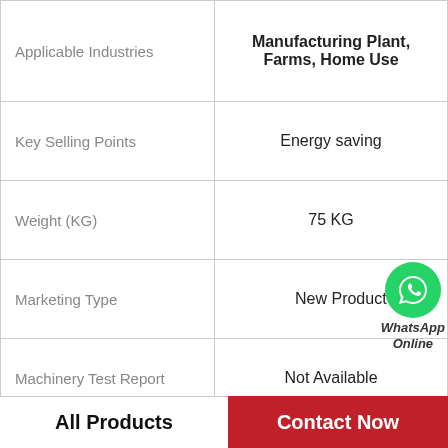| Attribute | Value |
| --- | --- |
| Applicable Industries | Manufacturing Plant, Farms, Home Use |
| Key Selling Points | Energy saving |
| Weight (KG) | 75 KG |
| Marketing Type | New Product 2020 |
| Machinery Test Report | Not Available |
| Video outgoing-inspection | Not Available |
| Warranty of core components | 3 months |